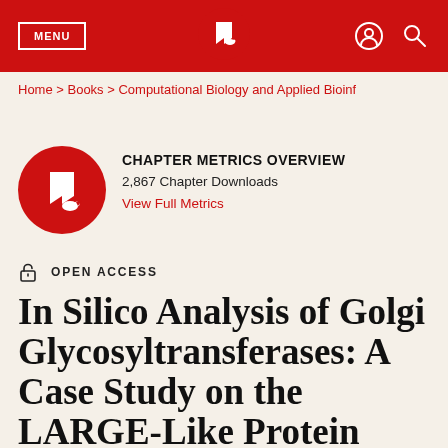MENU | [logo] | [user icon] [search icon]
Home > Books > Computational Biology and Applied Bioinf
[Figure (logo): IntechOpen logo: white bird/fish figure on red circle background, in navigation bar top center and metrics section]
CHAPTER METRICS OVERVIEW
2,867 Chapter Downloads
View Full Metrics
OPEN ACCESS
In Silico Analysis of Golgi Glycosyltransferases: A Case Study on the LARGE-Like Protein Family